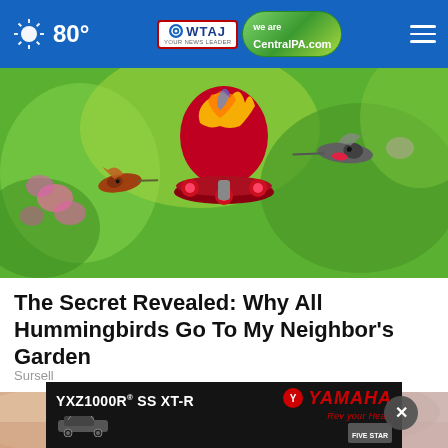80° | WTAJ CentralPA.com
[Figure (photo): Hummingbirds flying around a colorful glass hummingbird feeder with red and yellow swirls against a green blurred background with pink flowers]
The Secret Revealed: Why All Hummingbirds Go To My Neighbor's Garden
Sursell
[Figure (photo): Close-up of a human hand/wrist against a light purple background]
[Figure (screenshot): Yamaha advertisement banner showing YXZ1000R SS XT-R side-by-side vehicle with YAMAHA logo and Rev Your Heart tagline]